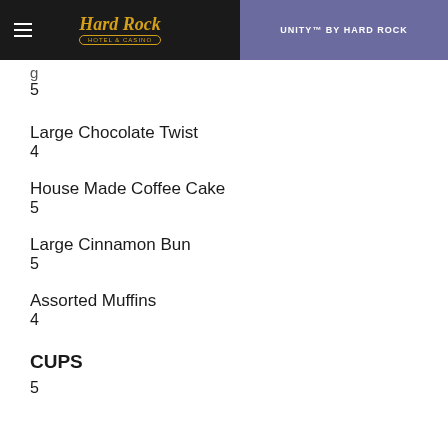Hard Rock Hotel & Casino | UNITY™ BY HARD ROCK
Large Chocolate Twist
4
House Made Coffee Cake
5
Large Cinnamon Bun
5
Assorted Muffins
4
CUPS
5